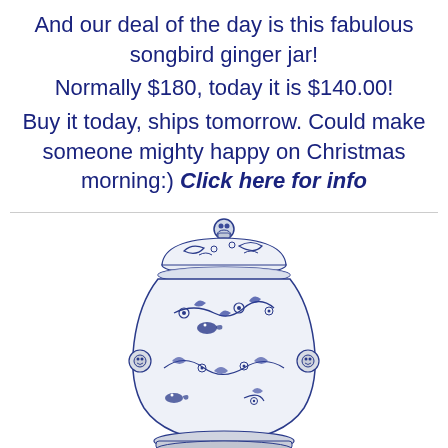And our deal of the day is this fabulous songbird ginger jar! Normally $180, today it is $140.00! Buy it today, ships tomorrow. Could make someone mighty happy on Christmas morning:) Click here for info
[Figure (photo): A blue and white porcelain songbird ginger jar with floral and bird motifs, decorative lion-head ring handles on the sides, and a domed lid with a lion finial on top.]